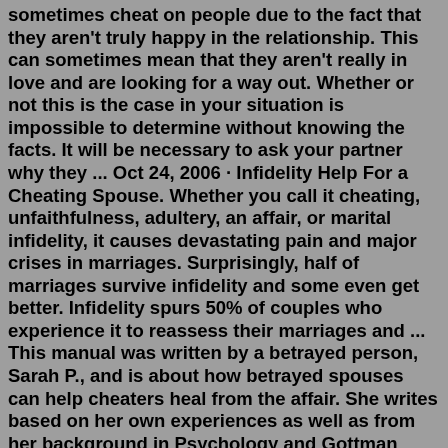sometimes cheat on people due to the fact that they aren't truly happy in the relationship. This can sometimes mean that they aren't really in love and are looking for a way out. Whether or not this is the case in your situation is impossible to determine without knowing the facts. It will be necessary to ask your partner why they ... Oct 24, 2006 · Infidelity Help For a Cheating Spouse. Whether you call it cheating, unfaithfulness, adultery, an affair, or marital infidelity, it causes devastating pain and major crises in marriages. Surprisingly, half of marriages survive infidelity and some even get better. Infidelity spurs 50% of couples who experience it to reassess their marriages and ... This manual was written by a betrayed person, Sarah P., and is about how betrayed spouses can help cheaters heal from the affair. She writes based on her own experiences as well as from her background in Psychology and Gottman training. You might think justice is served if you help your wayward spouse fix his or her problems. 25 Quotations About Liars and Cheaters. 1. Actually